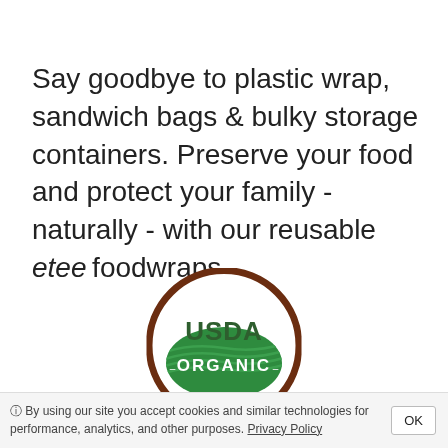Say goodbye to plastic wrap, sandwich bags & bulky storage containers. Preserve your food and protect your family - naturally - with our reusable etee foodwraps.
[Figure (logo): USDA Organic circular seal logo with brown ring, green shield with white text reading USDA ORGANIC]
USDA Organic Beeswax, Clove & Cinnamon
By using our site you accept cookies and similar technologies for performance, analytics, and other purposes. Privacy Policy